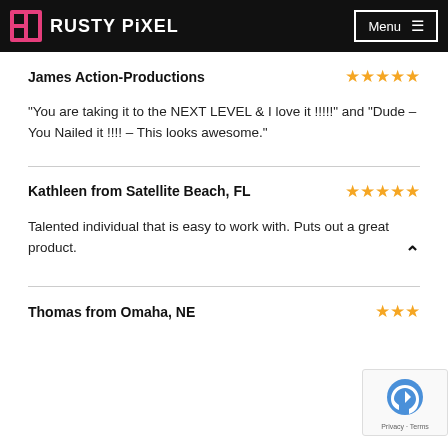RUSTY PiXEL | Menu
James Action-Productions
"You are taking it to the NEXT LEVEL & I love it !!!!!" and "Dude – You Nailed it !!!! – This looks awesome."
Kathleen from Satellite Beach, FL
Talented individual that is easy to work with. Puts out a great product.
Thomas from Omaha, NE